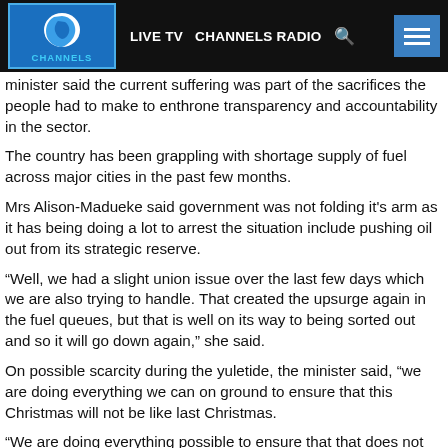LIVE TV   CHANNELS RADIO   [search]   [menu]
minister said the current suffering was part of the sacrifices the people had to make to enthrone transparency and accountability in the sector.
The country has been grappling with shortage supply of fuel across major cities in the past few months.
Mrs Alison-Madueke said government was not folding it’s arm as it has being doing a lot to arrest the situation include pushing oil out from its strategic reserve.
“Well, we had a slight union issue over the last few days which we are also trying to handle. That created the upsurge again in the fuel queues, but that is well on its way to being sorted out and so it will go down again,” she said.
On possible scarcity during the yuletide, the minister said, “we are doing everything we can on ground to ensure that this Christmas will not be like last Christmas.
“We are doing everything possible to ensure that that does not happen. Initially, the queues came out of the whole fuel subsidy issue and the fact of course, that verifications of certain amounts and certain